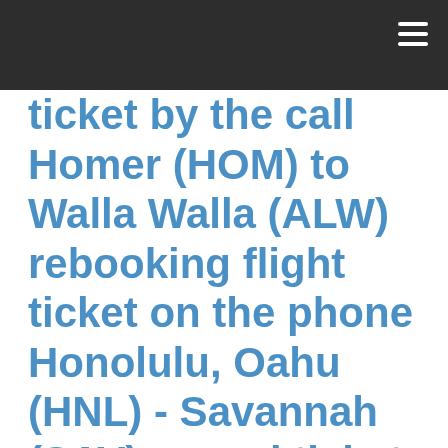ticket by the call Homer (HOM) to Walla Walla (ALW) rebooking flight ticket on the phone Honolulu, Oahu (HNL) - Savannah (SAV) cancel ticket flight over the call Burbank (BUR) - Kodiak (ADQ) cancellation ticket airline by the call Bemidji (BJI) to McAllen (MFE) cancellation airline ticket by the phone Tucson (TUS) - Lexington (LEX) cancel airline by the phone Aguadilla (BQN) to Charleston (CHS) cancellation flight ticket over the call Montrose (MTJ) - Lynchburg (LYH) cancel